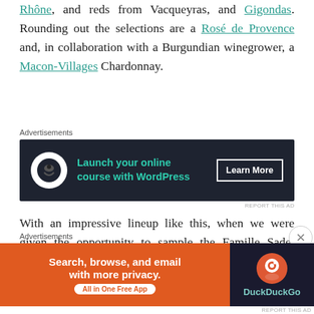Rhône, and reds from Vacqueyras, and Gigondas. Rounding out the selections are a Rosé de Provence and, in collaboration with a Burgundian winegrower, a Macon-Villages Chardonnay.
Advertisements
[Figure (screenshot): Dark advertisement banner: 'Launch your online course with WordPress' with a Learn More button and bonsai tree icon]
With an impressive lineup like this, when we were given the opportunity to sample the Famille Sadel Vacqueyras, there was no hesitation in our gladly accepting!
The wine presented here is a media
Advertisements
[Figure (screenshot): DuckDuckGo advertisement: 'Search, browse, and email with more privacy. All in One Free App' with DuckDuckGo logo on dark background]